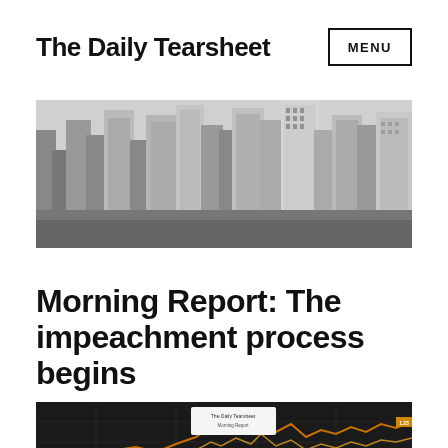The Daily Tearsheet
[Figure (photo): Black and white aerial view of a city skyline with tall skyscrapers]
Morning Report: The impeachment process begins
[Figure (screenshot): Dark financial chart showing a line graph with orange/gold colored lines on a dark background, with a tooltip visible]